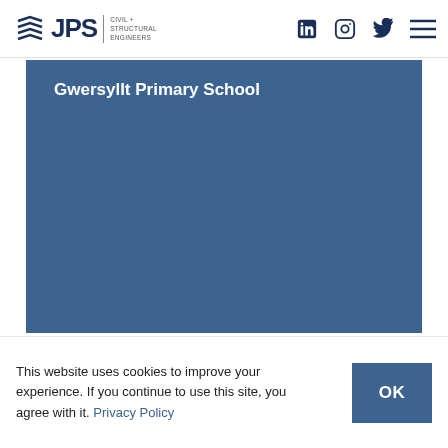JPS Civil + Structural Engineers
[Figure (screenshot): Blue background area representing a project image for Gwersyllt Primary School]
Gwersyllt Primary School
This website uses cookies to improve your experience. If you continue to use this site, you agree with it. Privacy Policy